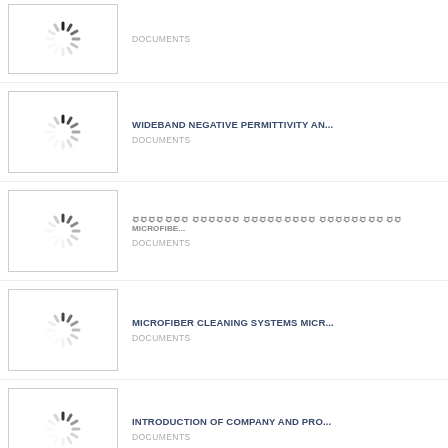DOCUMENTS
WIDEBAND NEGATIVE PERMITTIVITY AN... | DOCUMENTS
ꀀꀀꀀꀀꀀꀀꀀ ꀀꀀꀀꀀꀀꀀ ꀀꀀꀀꀀꀀꀀꀀꀀꀀ ꀀꀀꀀꀀꀀꀀꀀꀀ ꀀꀀ MICROFIBE... | DOCUMENTS
MICROFIBER CLEANING SYSTEMS MICR... | DOCUMENTS
INTRODUCTION OF COMPANY AND PRO... | DOCUMENTS